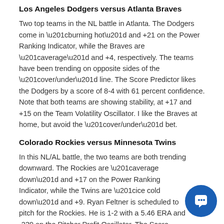Los Angeles Dodgers versus Atlanta Braves
Two top teams in the NL battle in Atlanta. The Dodgers come in “burning hot” and +21 on the Power Ranking Indicator, while the Braves are “average” and +4, respectively. The teams have been trending on opposite sides of the “over/under” line. The Score Predictor likes the Dodgers by a score of 8-4 with 61 percent confidence. Note that both teams are showing stability, at +17 and +15 on the Team Volatility Oscillator. I like the Braves at home, but avoid the “over/under” bet.
Colorado Rockies versus Minnesota Twins
In this NL/AL battle, the two teams are both trending downward. The Rockies are “average down” and +17 on the Power Ranking Indicator, while the Twins are “ice cold down” and +9. Ryan Feltner is scheduled to pitch for the Rockies. He is 1-2 with a 5.46 ERA and -239 on the Pitcher Profit Oscillator. The Score Predictor sees this as a slugfest with the Rockies coming out on top, 8-7. The Team Volatility Oscillator has the Twins at +13 and the Rockies at +12. Both teams have been trending games “over” the line. I like the Twins at home in a high-scoring